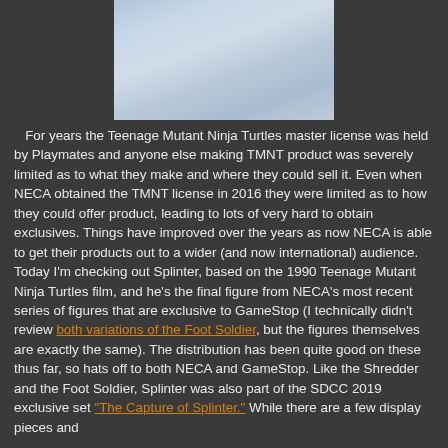[Figure (photo): A photo of what appears to be a white/light-colored figure or costume, likely a Splinter action figure or display piece, shown from the torso up against a dark background.]
For years the Teenage Mutant Ninja Turtles master license was held by Playmates and anyone else making TMNT product was severely limited as to what they make and where they could sell it. Even when NECA obtained the TMNT license in 2016 they were limited as to how they could offer product, leading to lots of very hard to obtain exclusives. Things have improved over the years as now NECA is able to get their products out to a wider (and now international) audience. Today I'm checking out Splinter, based on the 1990 Teenage Mutant Ninja Turtles film, and he's the final figure from NECA's most recent series of figures that are exclusive to GameStop (I technically didn't review both variations of the Foot Soldier, but the figures themselves are exactly the same). The distribution has been quite good on these thus far, so hats off to both NECA and GameStop. Like the Shredder and the Foot Soldier, Splinter was also part of the SDCC 2019 exclusive set "The Capture of Splinter." While there are a few display pieces and